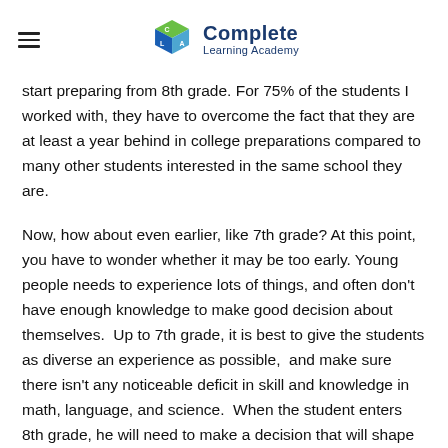Complete Learning Academy
start preparing from 8th grade. For 75% of the students I worked with, they have to overcome the fact that they are at least a year behind in college preparations compared to many other students interested in the same school they are.
Now, how about even earlier, like 7th grade? At this point, you have to wonder whether it may be too early. Young people needs to experience lots of things, and often don’t have enough knowledge to make good decision about themselves.  Up to 7th grade, it is best to give the students as diverse an experience as possible,  and make sure there isn’t any noticeable deficit in skill and knowledge in math, language, and science.  When the student enters 8th grade, he will need to make a decision that will shape his future, and it is better he can do this